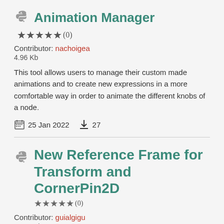Animation Manager ★★★★★ (0)
Contributor: nachoigea
4.96 Kb
This tool allows users to manage their custom made animations and to create new expressions in a more comfortable way in order to animate the different knobs of a node.
25 Jan 2022   27
New Reference Frame for Transform and CornerPin2D ★★★★★ (0)
Contributor: guialgigu
24.34 Kb
Set a new reference frame for any baked-in Transform or CornerPin2D node. Generate